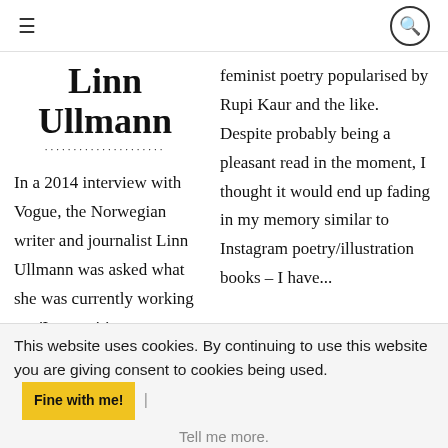≡  🔍
Linn Ullmann
In a 2014 interview with Vogue, the Norwegian writer and journalist Linn Ullmann was asked what she was currently working on. 'I am writing a memoir', she replied, 'or at least I
feminist poetry popularised by Rupi Kaur and the like. Despite probably being a pleasant read in the moment, I thought it would end up fading in my memory similar to Instagram poetry/illustration books – I have...
This website uses cookies. By continuing to use this website you are giving consent to cookies being used. Fine with me! | Tell me more.